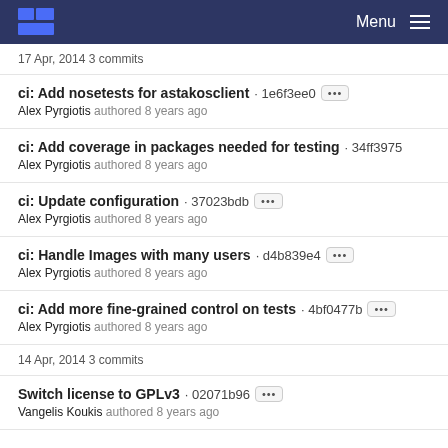Menu
17 Apr, 2014 3 commits
ci: Add nosetests for astakosclient · 1e6f3ee0 — Alex Pyrgiotis authored 8 years ago
ci: Add coverage in packages needed for testing · 34ff3975 — Alex Pyrgiotis authored 8 years ago
ci: Update configuration · 37023bdb — Alex Pyrgiotis authored 8 years ago
ci: Handle Images with many users · d4b839e4 — Alex Pyrgiotis authored 8 years ago
ci: Add more fine-grained control on tests · 4bf0477b — Alex Pyrgiotis authored 8 years ago
14 Apr, 2014 3 commits
Switch license to GPLv3 · 02071b96 — Vangelis Koukis authored 8 years ago